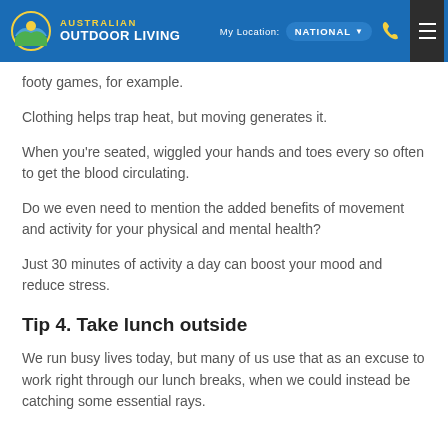Australian Outdoor Living — My Location: NATIONAL
footy games, for example.
Clothing helps trap heat, but moving generates it.
When you're seated, wiggled your hands and toes every so often to get the blood circulating.
Do we even need to mention the added benefits of movement and activity for your physical and mental health?
Just 30 minutes of activity a day can boost your mood and reduce stress.
Tip 4. Take lunch outside
We run busy lives today, but many of us use that as an excuse to work right through our lunch breaks, when we could instead be catching some essential rays.